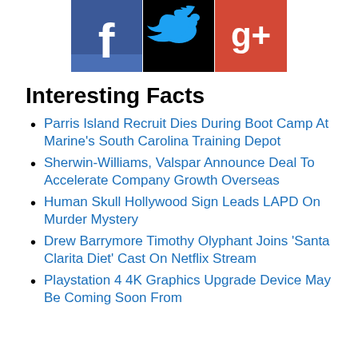[Figure (illustration): Social media icons: Facebook (blue with white f), Twitter (black with bird logo), Google+ (red with g+ logo), partially visible at top of page]
Interesting Facts
Parris Island Recruit Dies During Boot Camp At Marine's South Carolina Training Depot
Sherwin-Williams, Valspar Announce Deal To Accelerate Company Growth Overseas
Human Skull Hollywood Sign Leads LAPD On Murder Mystery
Drew Barrymore Timothy Olyphant Joins 'Santa Clarita Diet' Cast On Netflix Stream
Playstation 4 4K Graphics Upgrade Device May Be Coming Soon From